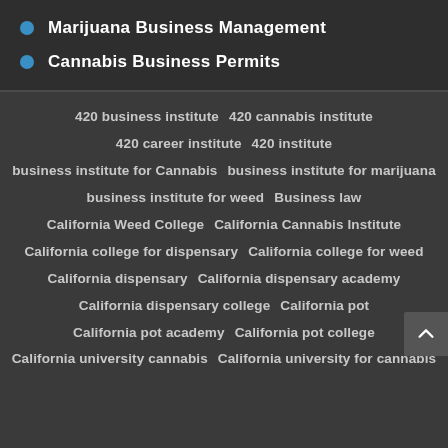Marijuana Business Management
Cannabis Business Permits
420 business institute  420 cannabis institute  420 career institute  420 institute  business institute for Cannabis  business institute for marijuana  business institute for weed  Business law  California Weed College  California Cannabis Institute  California college for dispensary  California college for weed  California dispensary  California dispensary academy  California dispensary college  California pot  California pot academy  California pot college  California university cannabis  California university for cannabis